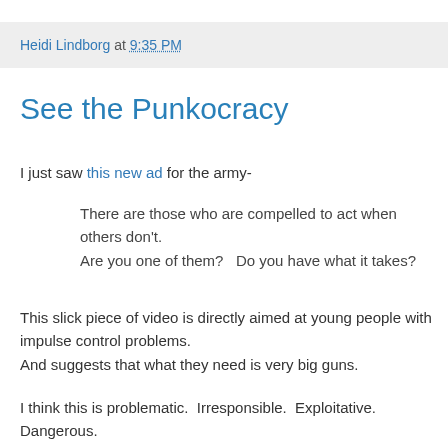[Figure (other): Partial avatar/profile image visible at top of page, cropped]
Heidi Lindborg at 9:35 PM
See the Punkocracy
I just saw this new ad for the army-
There are those who are compelled to act when others don't.
Are you one of them?   Do you have what it takes?
This slick piece of video is directly aimed at young people with impulse control problems.
And suggests that what they need is very big guns.
I think this is problematic.  Irresponsible.  Exploitative. Dangerous.
It would seem for the sake of the...